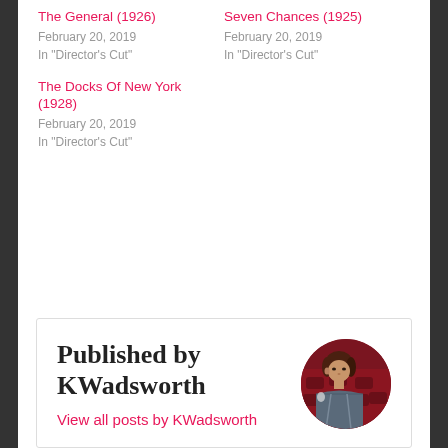The General (1926)
February 20, 2019
In "Director's Cut"
Seven Chances (1925)
February 20, 2019
In "Director's Cut"
The Docks Of New York (1928)
February 20, 2019
In "Director's Cut"
Published by KWadsworth
View all posts by KWadsworth
[Figure (photo): Circular portrait photo of KWadsworth, a woman with dark hair, seated in front of a red background]